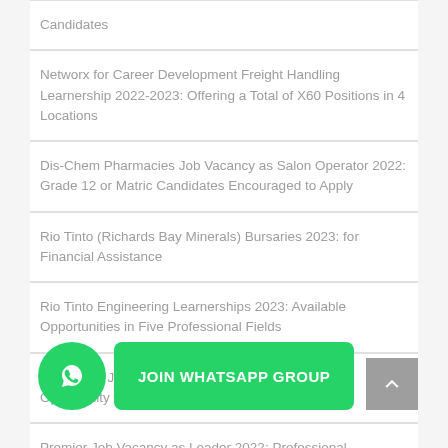Candidates
Networx for Career Development Freight Handling Learnership 2022-2023: Offering a Total of X60 Positions in 4 Locations
Dis-Chem Pharmacies Job Vacancy as Salon Operator 2022: Grade 12 or Matric Candidates Encouraged to Apply
Rio Tinto (Richards Bay Minerals) Bursaries 2023: for Financial Assistance
Rio Tinto Engineering Learnerships 2023: Available Opportunities in Five Professional Fields
Coca-Cola Job Vacancy as Cleaner 2022: Available Opportunity for Grade 12 Qualification Holders
Premier Job Vacancy as Loader 2022: Professional ... applicants
CoJ (City of Johannesburg) Job Vacancy as General Worker 2022: Employment Opportunity for Grade 10